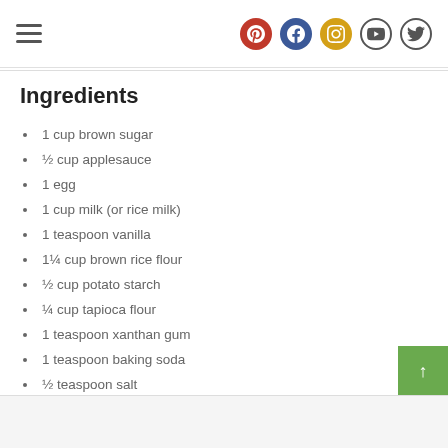Navigation menu with social icons: Pinterest, Facebook, Instagram, YouTube, Twitter
Ingredients
1 cup brown sugar
½ cup applesauce
1 egg
1 cup milk (or rice milk)
1 teaspoon vanilla
1¼ cup brown rice flour
½ cup potato starch
¼ cup tapioca flour
1 teaspoon xanthan gum
1 teaspoon baking soda
½ teaspoon salt
1 cup rhubarb, diced
1 cup strawberries, sliced